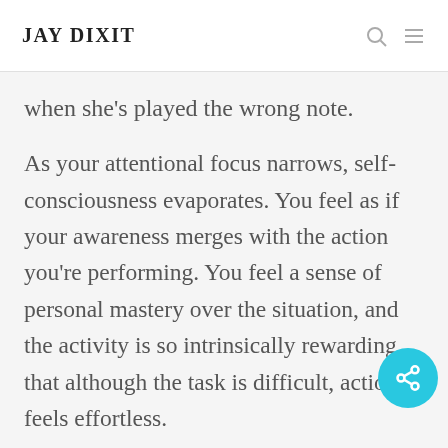JAY DIXIT
when she's played the wrong note.
As your attentional focus narrows, self-consciousness evaporates. You feel as if your awareness merges with the action you're performing. You feel a sense of personal mastery over the situation, and the activity is so intrinsically rewarding that although the task is difficult, action feels effortless.